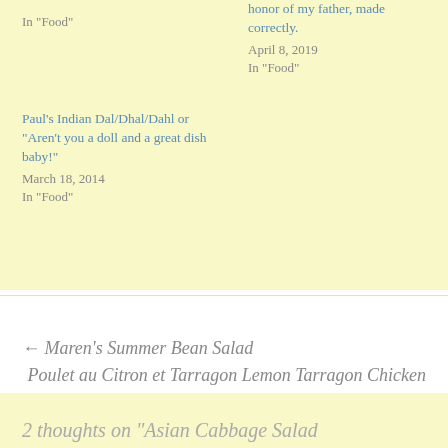In "Food"
honor of my father, made correctly.
April 8, 2019
In "Food"
Paul's Indian Dal/Dhal/Dahl or “Aren’t you a doll and a great dish baby!”
March 18, 2014
In "Food"
← Maren’s Summer Bean Salad
Poulet au Citron et Tarragon Lemon Tarragon Chicken →
2 thoughts on “Asian Cabbage Salad